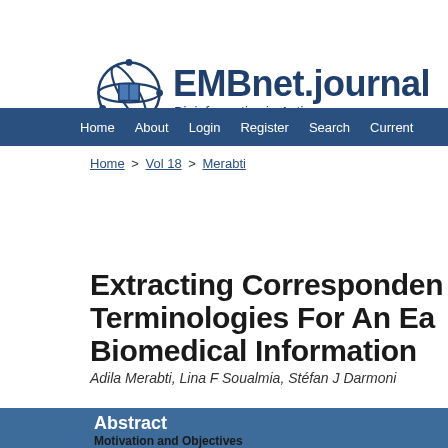EMBnet.journal — Bioinformatics in Action
Home | About | Login | Register | Search | Current
Home > Vol 18 > Merabti
Extracting Correspondences Between Terminologies For An Easy Access To Biomedical Information
Adila Merabti, Lina F Soualmia, Stéfan J Darmoni
Abstract
Motivation and Objectives